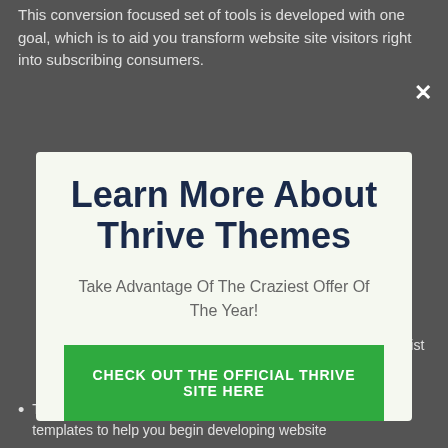This conversion focused set of tools is developed with one goal, which is to aid you transform website site visitors right into subscribing consumers.
Learn More About Thrive Themes
Take Advantage Of The Craziest Offer Of The Year!
CHECK OUT THE OFFICIAL THRIVE SITE HERE
No thanks, I'm not interested!
focused on advertising, optimization, and also list building.
Thousands Of Page Templates: You can pick from nearly 300 templates to help you begin developing website